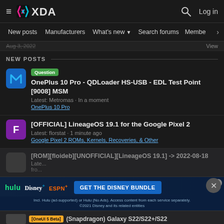XDA Forums header navigation with logo, search, and login
New posts · Manufacturers · What's new · Search forums · Members
Aug 3, 2022 ... View
NEW POSTS
Question · OnePlus 10 Pro - QDLoader HS-USB - EDL Test Point [9008] MSM
Latest: Metromas · In a moment
OnePlus 10 Pro
[OFFICIAL] LineageOS 19.1 for the Google Pixel 2
Latest: florstat · 1 minute ago
Google Pixel 2 ROMs, Kernels, Recoveries, & Other
[ROM][floideb][UNOFFICIAL][LineageOS 19.1] -> 2022-08-18
Latest: ...
[Figure (screenshot): Hulu Disney+ ESPN+ advertisement: GET THE DISNEY BUNDLE. Incl. Hulu (ad-supported) or Hulu (No Ads). Access content from each service separately. ©2021 Disney and its related entities]
[OneUI 5 Beta] (Snapdragon) Galaxy S22/S22+/S22...